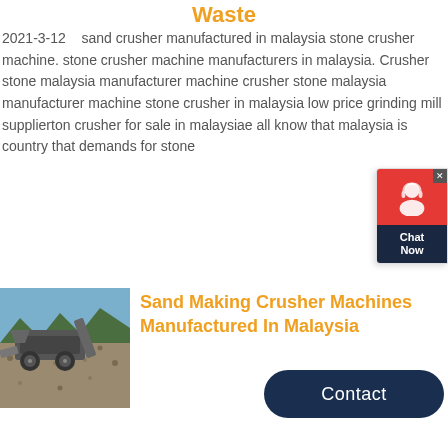Waste
2021-3-12   sand crusher manufactured in malaysia stone crusher machine. stone crusher machine manufacturers in malaysia. Crusher stone malaysia manufacturer machine crusher stone malaysia manufacturer machine stone crusher in malaysia low price grinding mill supplierton crusher for sale in malaysiae all know that malaysia is country that demands for stone
[Figure (other): Chat Now widget with red background and person icon, dark navy label]
[Figure (other): Contact button - dark navy rounded rectangle]
[Figure (photo): Photo of a mobile sand/stone crushing machine on a gravel site with trees in background]
Sand Making Crusher Machines Manufactured In Malaysia